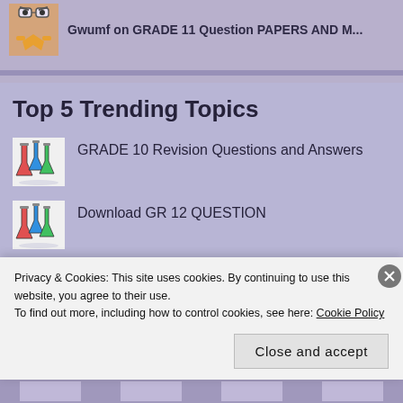Gwumf on GRADE 11 Question PAPERS AND M...
Top 5 Trending Topics
GRADE 10 Revision Questions and Answers
Download GR 12 QUESTION
Privacy & Cookies: This site uses cookies. By continuing to use this website, you agree to their use.
To find out more, including how to control cookies, see here: Cookie Policy
Close and accept